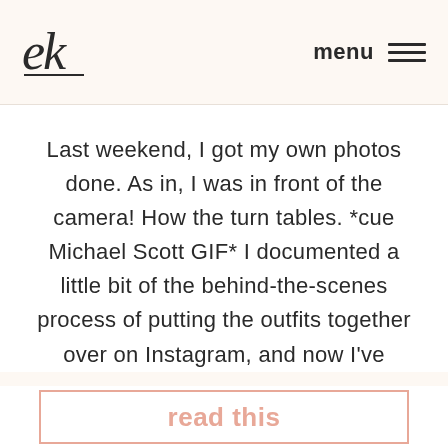ek  menu
Last weekend, I got my own photos done. As in, I was in front of the camera! How the turn tables. *cue Michael Scott GIF* I documented a little bit of the behind-the-scenes process of putting the outfits together over on Instagram, and now I've
read this